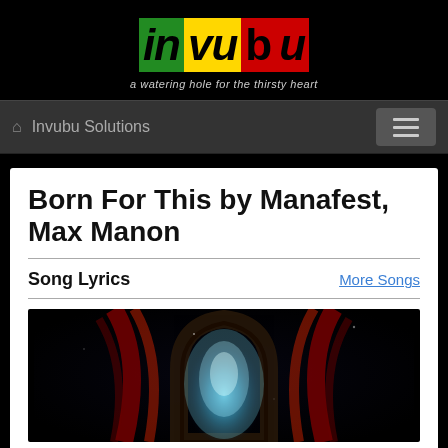[Figure (logo): Invubu logo with colored blocks: green 'in', yellow 'vu', red 'bu' on black background, with tagline 'a watering hole for the thirsty heart']
Invubu Solutions
Born For This by Manafest, Max Manon
Song Lyrics
More Songs
[Figure (photo): Dark photograph showing a glowing blue arch window with red curtain-like streaks, resembling a gothic cathedral window in the dark]